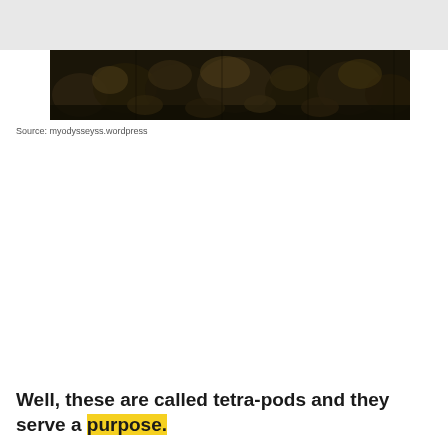[Figure (photo): A dark panoramic photograph showing a large collection of tetrapods (concrete wave breakers) piled together, taken from a low angle. The image is very dark with yellowish-brown tones.]
Source: myodysseyss.wordpress
Well, these are called tetra-pods and they serve a purpose.